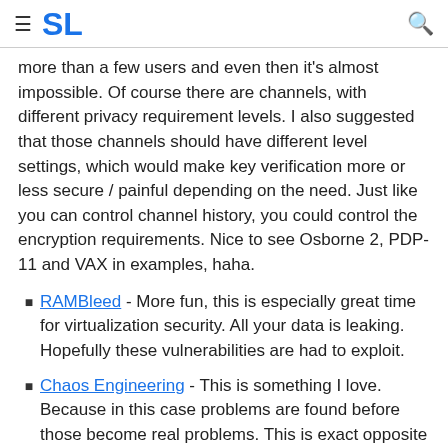SL
more than a few users and even then it's almost impossible. Of course there are channels, with different privacy requirement levels. I also suggested that those channels should have different level settings, which would make key verification more or less secure / painful depending on the need. Just like you can control channel history, you could control the encryption requirements. Nice to see Osborne 2, PDP-11 and VAX in examples, haha.
RAMBleed - More fun, this is especially great time for virtualization security. All your data is leaking. Hopefully these vulnerabilities are had to exploit.
Chaos Engineering - This is something I love. Because in this case problems are found before those become real problems. This is exact opposite what I'm unfortunately often hearing. "It's working always" so there's no need